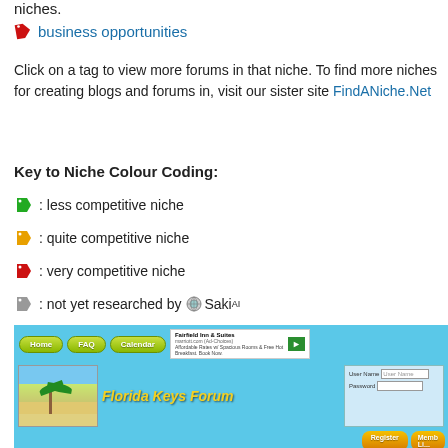niches.
🏷 business opportunities
Click on a tag to view more forums in that niche. To find more niches for creating blogs and forums in, visit our sister site FindANiche.Net
Key to Niche Colour Coding:
(green tag) : less competitive niche
(orange tag) : quite competitive niche
(red tag) : very competitive niche
(grey tag) : not yet researched by Saki^AI
[Figure (screenshot): Screenshot of Florida Keys Forum website showing navigation bar with Home, FAQ, Calendar buttons, a beach/palm tree hero image with 'Florida Keys Forum' title, login box, Register and Members List buttons, and Florida Keys Forums list header with Register, FAQ, Members List, Calendar, Today's Posts navigation.]